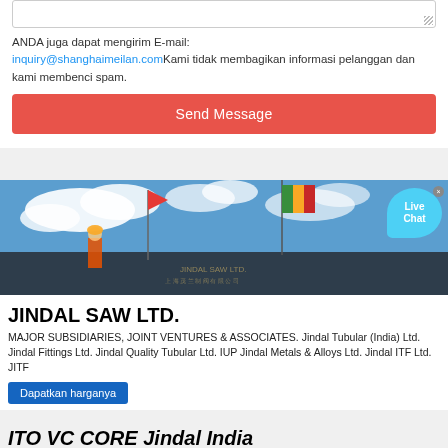ANDA juga dapat mengirim E-mail: inquiry@shanghaimeilan.com Kami tidak membagikan informasi pelanggan dan kami membenci spam.
Send Message
[Figure (photo): Outdoor industrial facility photo showing flags (red and green/yellow) on poles against a blue sky with clouds, and a dark building facade with Chinese text in the foreground.]
JINDAL SAW LTD.
MAJOR SUBSIDIARIES, JOINT VENTURES & ASSOCIATES. Jindal Tubular (India) Ltd. Jindal Fittings Ltd. Jindal Quality Tubular Ltd. IUP Jindal Metals & Alloys Ltd. Jindal ITF Ltd. JITF
Dapatkan harganya